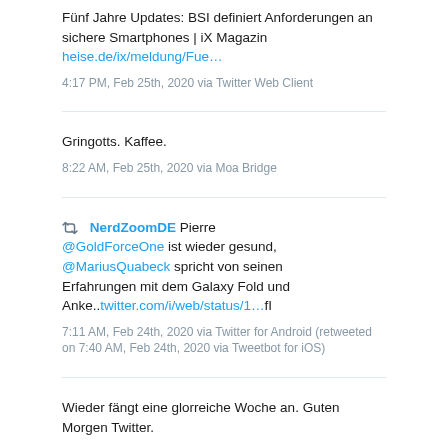Fünf Jahre Updates: BSI definiert Anforderungen an sichere Smartphones | iX Magazin heise.de/ix/meldung/Fue…
4:17 PM, Feb 25th, 2020 via Twitter Web Client
Gringotts. Kaffee.
8:22 AM, Feb 25th, 2020 via Moa Bridge
NerdZoomDE Pierre @GoldForceOne ist wieder gesund, @MariusQuabeck spricht von seinen Erfahrungen mit dem Galaxy Fold und Anke..twitter.com/i/web/status/1…fI
7:11 AM, Feb 24th, 2020 via Twitter for Android (retweeted on 7:40 AM, Feb 24th, 2020 via Tweetbot for iOS)
Wieder fängt eine glorreiche Woche an. Guten Morgen Twitter.
7:40 AM, Feb 24th, 2020 via Tweetbot for iOS
[Figure (photo): Dark image preview thumbnail at bottom of page]